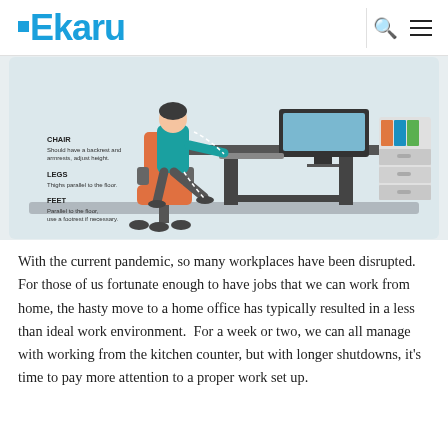Ekaru
[Figure (infographic): Ergonomic workspace infographic showing a person seated at a desk with labels for CHAIR (Should have a backrest and armrests, adjust height), LEGS (Thighs parallel to the floor), and FEET (Parallel to the floor, use a footrest if necessary). A filing cabinet is shown on the right.]
With the current pandemic, so many workplaces have been disrupted.  For those of us fortunate enough to have jobs that we can work from home, the hasty move to a home office has typically resulted in a less than ideal work environment.  For a week or two, we can all manage with working from the kitchen counter, but with longer shutdowns, it's time to pay more attention to a proper work set up.